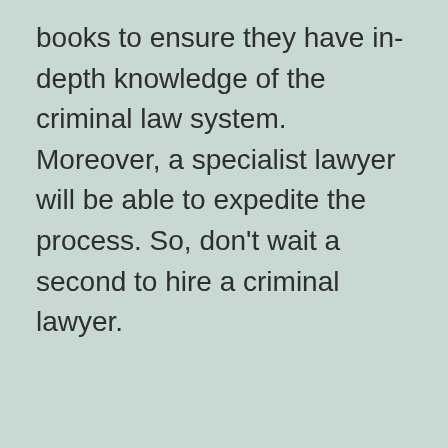books to ensure they have in-depth knowledge of the criminal law system. Moreover, a specialist lawyer will be able to expedite the process. So, don't wait a second to hire a criminal lawyer.